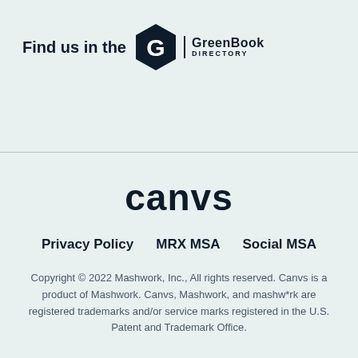[Figure (logo): GreenBook Directory logo with hexagon G icon and text 'GreenBook DIRECTORY']
[Figure (logo): Canvs logo in bold black lowercase text]
Privacy Policy    MRX MSA    Social MSA
Copyright © 2022 Mashwork, Inc., All rights reserved. Canvs is a product of Mashwork. Canvs, Mashwork, and mashw*rk are registered trademarks and/or service marks registered in the U.S. Patent and Trademark Office.